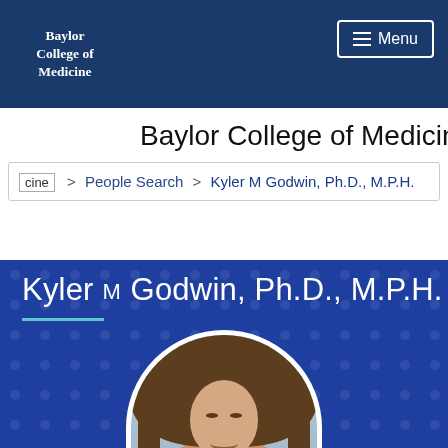Baylor College of Medicine
Baylor College of Medicine
cine > People Search > Kyler M Godwin, Ph.D., M.P.H.
Kyler M Godwin, Ph.D., M.P.H.
[Figure (photo): Headshot photo of Kyler M Godwin, a woman with long brown hair, smiling, in an oval/arch framed portrait against a blue patterned background]